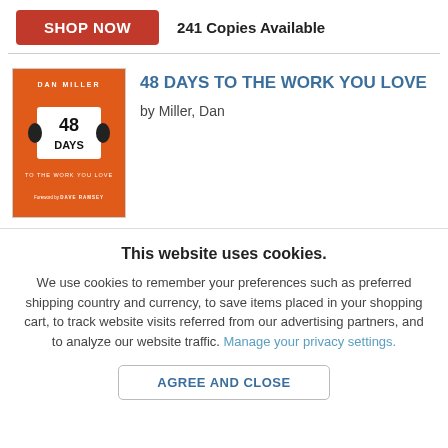SHOP NOW   241 Copies Available
[Figure (illustration): Book cover of '48 Days to the Work You Love' by Dan Miller, orange background with Rolodex card showing '48 Days' text]
48 DAYS TO THE WORK YOU LOVE
by Miller, Dan
This website uses cookies.
We use cookies to remember your preferences such as preferred shipping country and currency, to save items placed in your shopping cart, to track website visits referred from our advertising partners, and to analyze our website traffic. Manage your privacy settings.
AGREE AND CLOSE